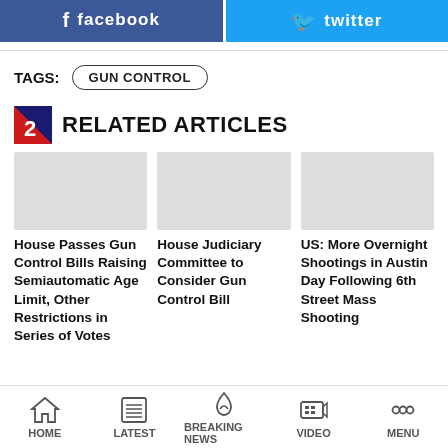[Figure (other): Facebook and Twitter social share buttons at top of page]
TAGS: GUN CONTROL
RELATED ARTICLES
House Passes Gun Control Bills Raising Semiautomatic Age Limit, Other Restrictions in Series of Votes
House Judiciary Committee to Consider Gun Control Bill
US: More Overnight Shootings in Austin Day Following 6th Street Mass Shooting
HOME   LATEST   BREAKING NEWS   VIDEO   MENU